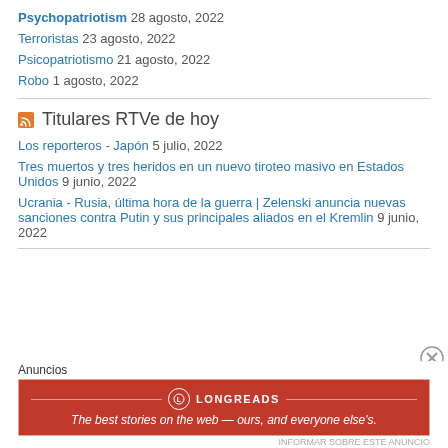Psychopatriotism 28 agosto, 2022
Terroristas 23 agosto, 2022
Psicopatriotismo 21 agosto, 2022
Robo 1 agosto, 2022
Titulares RTVe de hoy
Los reporteros - Japón 5 julio, 2022
Tres muertos y tres heridos en un nuevo tiroteo masivo en Estados Unidos 9 junio, 2022
Ucrania - Rusia, última hora de la guerra | Zelenski anuncia nuevas sanciones contra Putin y sus principales aliados en el Kremlin 9 junio, 2022
Anuncios
[Figure (other): Longreads advertisement banner: red background with Longreads logo and text 'The best stories on the web — ours, and everyone else's.']